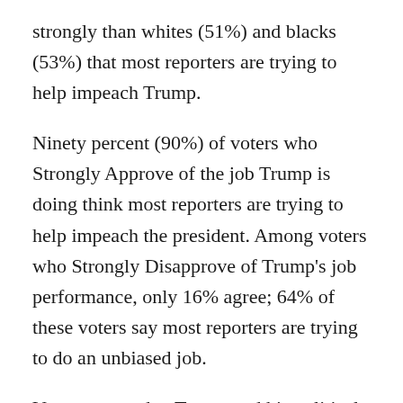strongly than whites (51%) and blacks (53%) that most reporters are trying to help impeach Trump.
Ninety percent (90%) of voters who Strongly Approve of the job Trump is doing think most reporters are trying to help impeach the president. Among voters who Strongly Disapprove of Trump's job performance, only 16% agree; 64% of these voters say most reporters are trying to do an unbiased job.
Voters are mad at Trump and his political opponents, but they're angriest at the media these days.